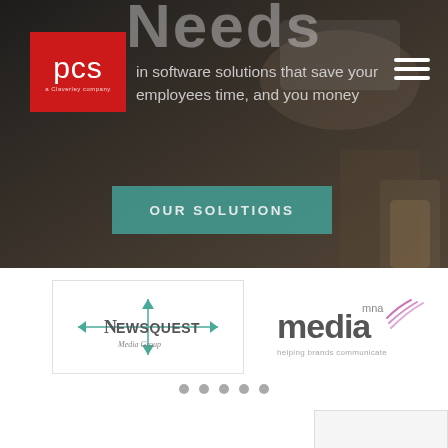[Figure (screenshot): Dark hero background with blurred office desk scene]
Needs
[Figure (logo): PCS - a Claverley company logo in red square]
[Figure (other): Hamburger menu icon (three white lines)]
in software solutions that save your employees time, and you money
[Figure (other): OUR SOLUTIONS button with teal/green background]
[Figure (logo): Newsquest Media Group logo]
[Figure (logo): mna media - helping brands communicate logo]
[Figure (other): Five dot pagination indicators]